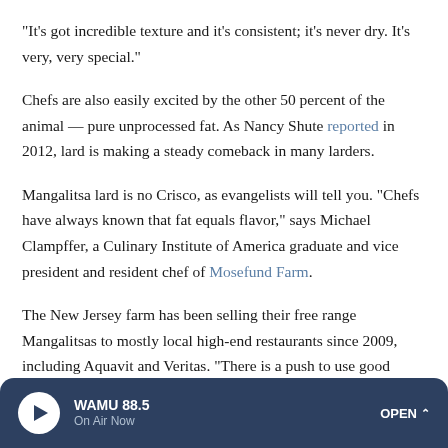"It's got incredible texture and it's consistent; it's never dry. It's very, very special."
Chefs are also easily excited by the other 50 percent of the animal — pure unprocessed fat. As Nancy Shute reported in 2012, lard is making a steady comeback in many larders.
Mangalitsa lard is no Crisco, as evangelists will tell you. "Chefs have always known that fat equals flavor," says Michael Clampffer, a Culinary Institute of America graduate and vice president and resident chef of Mosefund Farm.
The New Jersey farm has been selling their free range Mangalitsas to mostly local high-end restaurants since 2009, including Aquavit and Veritas. "There is a push to use good
WAMU 88.5 On Air Now OPEN